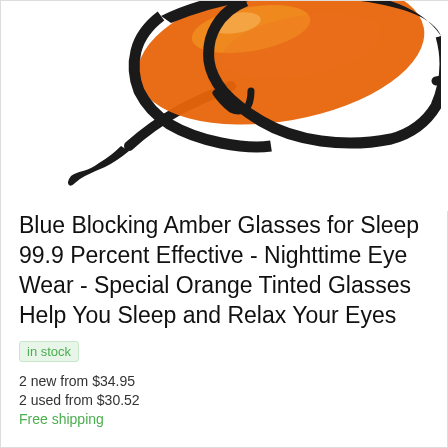[Figure (photo): Orange/amber tinted sport sunglasses with black frame, photographed at an angle showing the lens and temple arm]
Blue Blocking Amber Glasses for Sleep 99.9 Percent Effective - Nighttime Eye Wear - Special Orange Tinted Glasses Help You Sleep and Relax Your Eyes
in stock
2 new from $34.95
2 used from $30.52
Free shipping